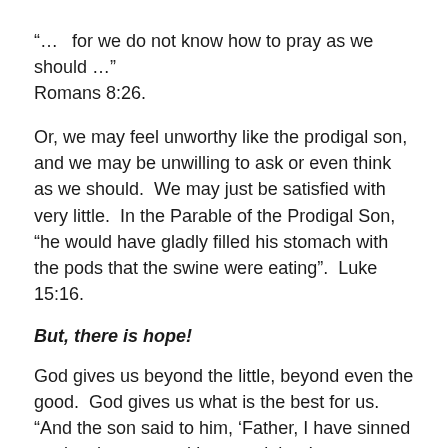“…  for we do not know how to pray as we should …” Romans 8:26.
Or, we may feel unworthy like the prodigal son, and we may be unwilling to ask or even think as we should.  We may just be satisfied with very little.  In the Parable of the Prodigal Son, “he would have gladly filled his stomach with the pods that the swine were eating”.  Luke 15:16.
But, there is hope!
God gives us beyond the little, beyond even the good.  God gives us what is the best for us.  “And the son said to him, ‘Father, I have sinned against heaven and in your sight;  I am no longer worthy to be called your son.’  But the father said to his slaves, ‘Quickly bring out the best robe and put it on him, and put a ring on his hand and